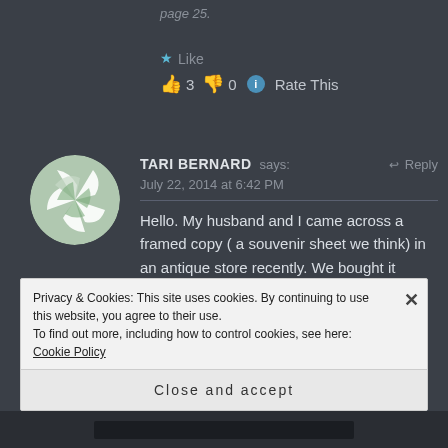page 25.
★ Like
👍 3  👎 0  ℹ Rate This
TARI BERNARD says:  ↩ Reply
July 22, 2014 at 6:42 PM
Hello. My husband and I came across a framed copy ( a souvenir sheet we think) in an antique store recently. We bought it because we are stamp collectors.
Privacy & Cookies: This site uses cookies. By continuing to use this website, you agree to their use.
To find out more, including how to control cookies, see here: Cookie Policy
Close and accept